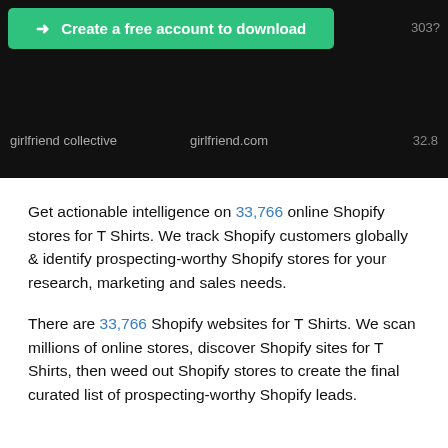[Figure (screenshot): Dark/black background screenshot showing a green 'Create a free account to download' button at the top, a partial number '303?' at the top right, and a table row showing 'girlfriend collective', 'girlfriend.com', '32.8' on a dark background.]
Get actionable intelligence on 33,766 online Shopify stores for T Shirts. We track Shopify customers globally & identify prospecting-worthy Shopify stores for your research, marketing and sales needs.
There are 33,766 Shopify websites for T Shirts. We scan millions of online stores, discover Shopify sites for T Shirts, then weed out Shopify stores to create the final curated list of prospecting-worthy Shopify leads.